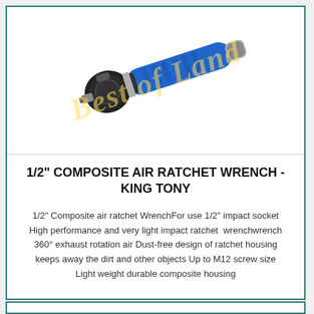[Figure (photo): A blue and black 1/2 inch composite air ratchet wrench (King Tony brand) photographed diagonally against a white background, with a 'Best of Land' watermark overlaid in yellow italic text.]
1/2" COMPOSITE AIR RATCHET WRENCH - KING TONY
1/2" Composite air ratchet WrenchFor use 1/2" impact socket High performance and very light impact ratchet wrenchwrench 360° exhaust rotation air Dust-free design of ratchet housing keeps away the dirt and other objects Up to M12 screw size Light weight durable composite housing